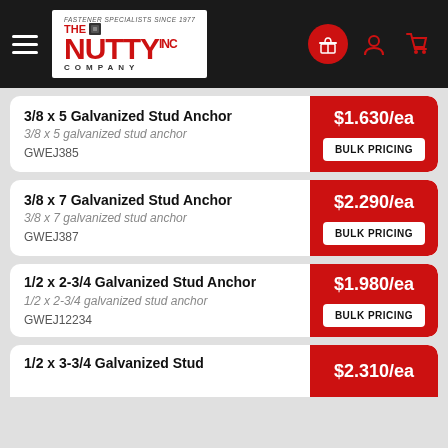[Figure (screenshot): The Nutty Company website header with hamburger menu, logo, and icons for rewards, account, and cart]
3/8 x 5 Galvanized Stud Anchor — 3/8 x 5 galvanized stud anchor — GWEJ385 — $1.630/ea — BULK PRICING
3/8 x 7 Galvanized Stud Anchor — 3/8 x 7 galvanized stud anchor — GWEJ387 — $2.290/ea — BULK PRICING
1/2 x 2-3/4 Galvanized Stud Anchor — 1/2 x 2-3/4 galvanized stud anchor — GWEJ12234 — $1.980/ea — BULK PRICING
1/2 x 3-3/4 Galvanized Stud — $2.310/ea (partial)